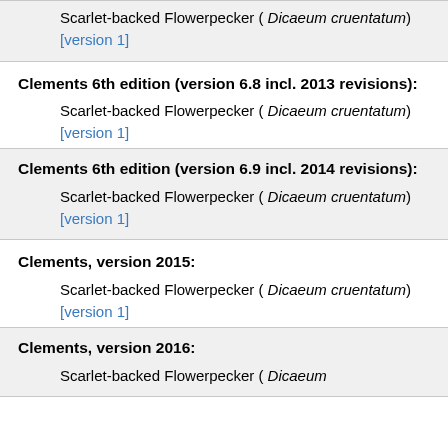Scarlet-backed Flowerpecker ( Dicaeum cruentatum) [version 1]
Clements 6th edition (version 6.8 incl. 2013 revisions):
Scarlet-backed Flowerpecker ( Dicaeum cruentatum) [version 1]
Clements 6th edition (version 6.9 incl. 2014 revisions):
Scarlet-backed Flowerpecker ( Dicaeum cruentatum) [version 1]
Clements, version 2015:
Scarlet-backed Flowerpecker ( Dicaeum cruentatum) [version 1]
Clements, version 2016:
Scarlet-backed Flowerpecker ( Dicaeum